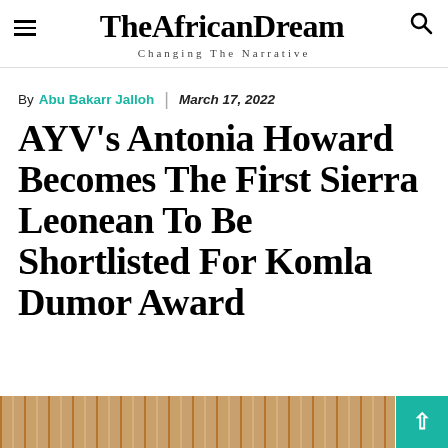The African Dream — Changing The Narrative
By Abu Bakarr Jalloh | March 17, 2022
AYV's Antonia Howard Becomes The First Sierra Leonean To Be Shortlisted For Komla Dumor Award
[Figure (photo): Bottom strip showing a photo partially visible at the bottom of the page]